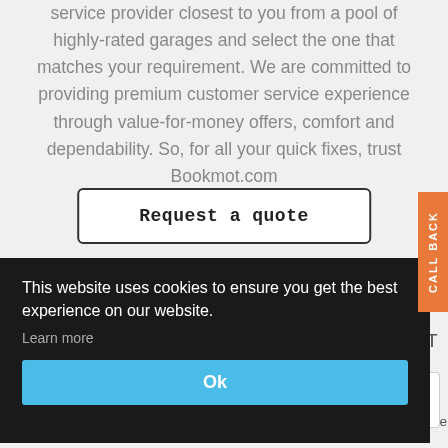service provider closest to you from a pool of highly-rated garages and select the one that matches your requirement. We are committed to providing premium customer service experience through value-for-money offers, comfort and dependability. So, for all your quick fixes, trust Bookmot.com
[Figure (screenshot): Request a quote button with rounded rectangle border, black text in monospace font]
[Figure (screenshot): Orange vertical CALL BACK tab on right side of page]
[Figure (screenshot): Cookie consent overlay with dark background containing cookie notice text, Learn more link, and Ok button in blue]
requests from the largest network of car owners in the UK.